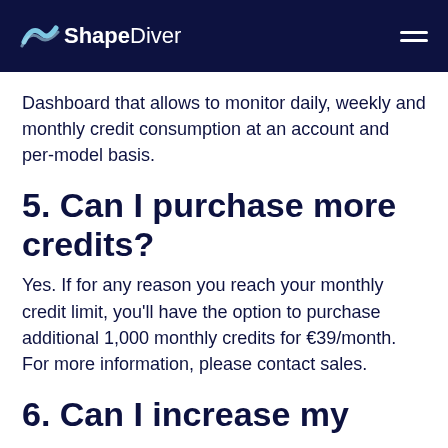ShapeDiver
Dashboard that allows to monitor daily, weekly and monthly credit consumption at an account and per-model basis.
5. Can I purchase more credits?
Yes. If for any reason you reach your monthly credit limit, you'll have the option to purchase additional 1,000 monthly credits for €39/month. For more information, please contact sales.
6. Can I increase my